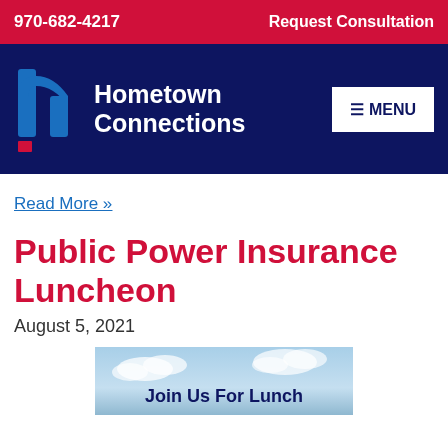970-682-4217   Request Consultation
[Figure (logo): Hometown Connections logo with stylized 'h' icon in blue and red on navy background, with MENU button]
Read More »
Public Power Insurance Luncheon
August 5, 2021
[Figure (photo): Banner image with sky/clouds background and text 'Join Us For Lunch']